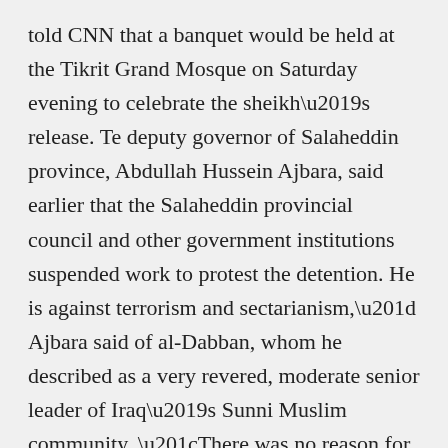told CNN that a banquet would be held at the Tikrit Grand Mosque on Saturday evening to celebrate the sheikh’s release. Te deputy governor of Salaheddin province, Abdullah Hussein Ajbara, said earlier that the Salaheddin provincial council and other government institutions suspended work to protest the detention. He is against terrorism and sectarianism,” Ajbara said of al-Dabban, whom he described as a very revered, moderate senior leader of Iraq’s Sunni Muslim community. “There was no reason for U.S. forces to detain him.”